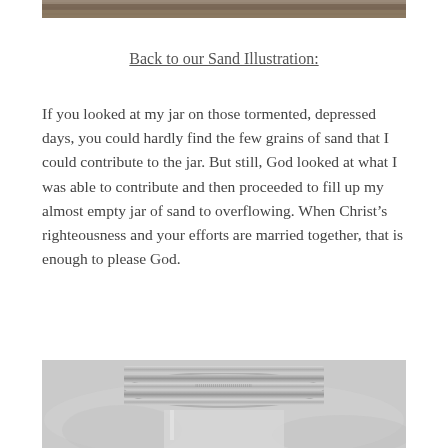[Figure (photo): Top portion of a photo showing a textured outdoor scene, partially visible at the very top of the page.]
Back to our Sand Illustration:
If you looked at my jar on those tormented, depressed days, you could hardly find the few grains of sand that I could contribute to the jar. But still, God looked at what I was able to contribute and then proceeded to fill up my almost empty jar of sand to overflowing. When Christ’s righteousness and your efforts are married together, that is enough to please God.
[Figure (photo): Close-up photo of a metal jar lid (mason jar style) viewed from above, showing the ribbed metal cap, on a blurred grey background.]